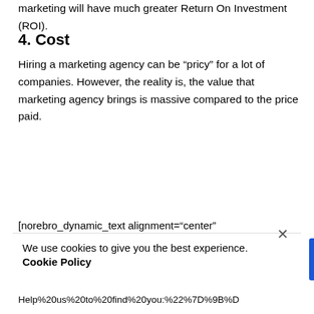marketing will have much greater Return On Investment (ROI).
4. Cost
Hiring a marketing agency can be “pricy” for a lot of companies. However, the reality is, the value that marketing agency brings is massive compared to the price paid.
[norebro_dynamic_text alignment=“center” type_speed=“fast” appearance_effect=“fade-up”
We use cookies to give you the best experience. Cookie Policy
Help%20us%20to%20find%20you:%22%7D%93D